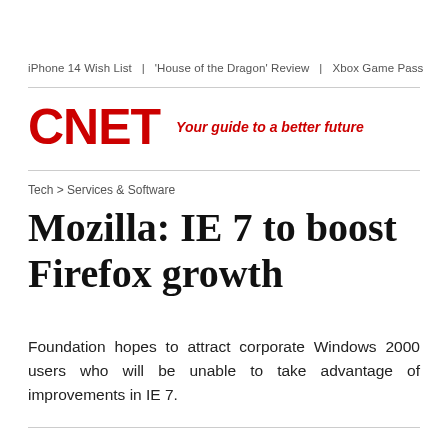iPhone 14 Wish List  |  'House of the Dragon' Review  |  Xbox Game Pass
CNET  Your guide to a better future
Tech > Services & Software
Mozilla: IE 7 to boost Firefox growth
Foundation hopes to attract corporate Windows 2000 users who will be unable to take advantage of improvements in IE 7.